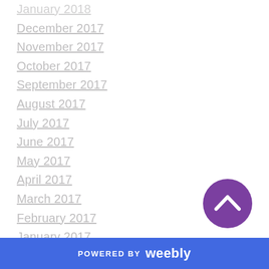January 2018
December 2017
November 2017
October 2017
September 2017
August 2017
July 2017
June 2017
May 2017
April 2017
March 2017
February 2017
January 2017
December 2016
November 2016
October 2016
September 2016
[Figure (illustration): Purple circular scroll-to-top button with upward chevron icon]
POWERED BY weebly